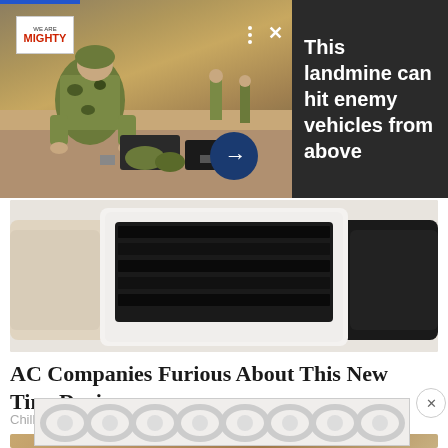[Figure (photo): Advertisement overlay: soldier crouching over military equipment in desert setting, with We Are The Mighty logo, dark right panel with text about landmine]
This landmine can hit enemy vehicles from above
[Figure (photo): Person holding a small white portable AC device (ChillWell AC) against a light background]
AC Companies Furious About This New Tiny Device
ChillWell AC
[Figure (photo): Close-up of a metallic/gold colored object on a wooden surface]
[Figure (other): Bottom advertisement banner with repeating circular pattern in grey tones]